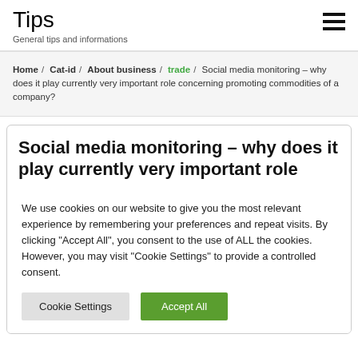Tips
General tips and informations
Home / Cat-id / About business / trade / Social media monitoring – why does it play currently very important role concerning promoting commodities of a company?
Social media monitoring – why does it play currently very important role
We use cookies on our website to give you the most relevant experience by remembering your preferences and repeat visits. By clicking "Accept All", you consent to the use of ALL the cookies. However, you may visit "Cookie Settings" to provide a controlled consent.